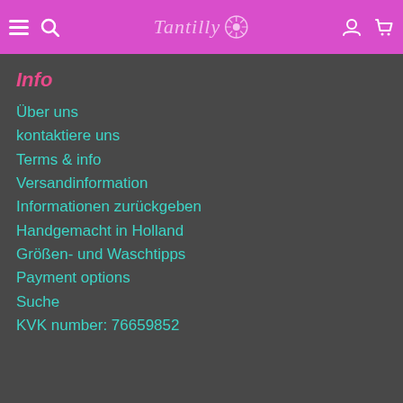Tantilly — navigation header with hamburger menu, search, logo, user icon, cart icon
Info
Über uns
kontaktiere uns
Terms & info
Versandinformation
Informationen zurückgeben
Handgemacht in Holland
Größen- und Waschtipps
Payment options
Suche
KVK number: 76659852